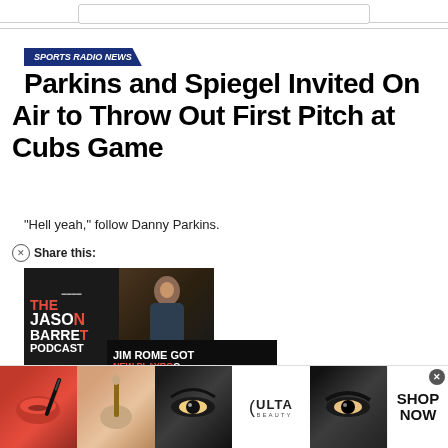[Figure (screenshot): Search bar UI element at top of page]
SPORTS RADIO NEWS
Parkins and Spiegel Invited On Air to Throw Out First Pitch at Cubs Game
“Hell yeah,” follow Danny Parkins.
Share this:
August 23, 2022
[Figure (photo): The Jason Barrett Podcast card with Jim Rome Got New Playbook overlay]
[Figure (photo): Ulta Beauty advertisement banner with makeup imagery]